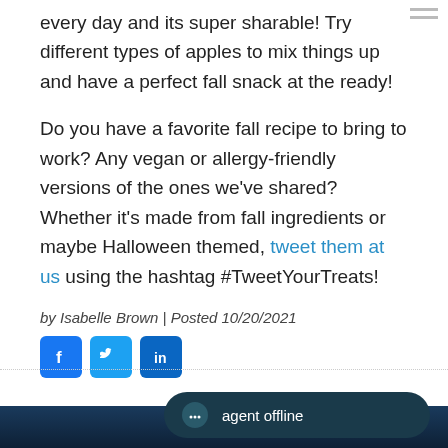every day and its super sharable! Try different types of apples to mix things up and have a perfect fall snack at the ready!
Do you have a favorite fall recipe to bring to work? Any vegan or allergy-friendly versions of the ones we've shared? Whether it's made from fall ingredients or maybe Halloween themed, tweet them at us using the hashtag #TweetYourTreats!
by Isabelle Brown | Posted 10/20/2021
[Figure (other): Social media share icons: Facebook, Twitter, LinkedIn]
[Figure (other): Agent offline chat button at bottom right]